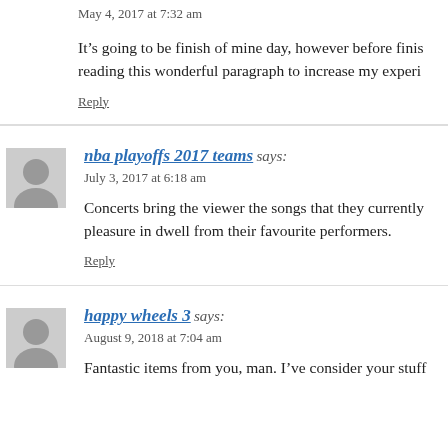May 4, 2017 at 7:32 am
It’s going to be finish of mine day, however before finis reading this wonderful paragraph to increase my experi
Reply
nba playoffs 2017 teams says:
July 3, 2017 at 6:18 am
Concerts bring the viewer the songs that they currently pleasure in dwell from their favourite performers.
Reply
happy wheels 3 says:
August 9, 2018 at 7:04 am
Fantastic items from you, man. I’ve consider your stuff